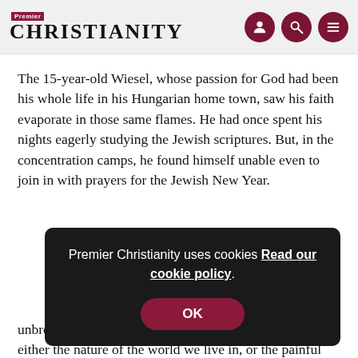Premier Christianity
The 15-year-old Wiesel, whose passion for God had been his whole life in his Hungarian home town, saw his faith evaporate in those same flames. He had once spent his nights eagerly studying the Jewish scriptures. But, in the concentration camps, he found himself unable even to join in with prayers for the Jewish New Year.
Premier Christianity uses cookies Read our cookie policy. OK
unbroken communion with God fails to take seriously either the nature of the world we live in, or the painful